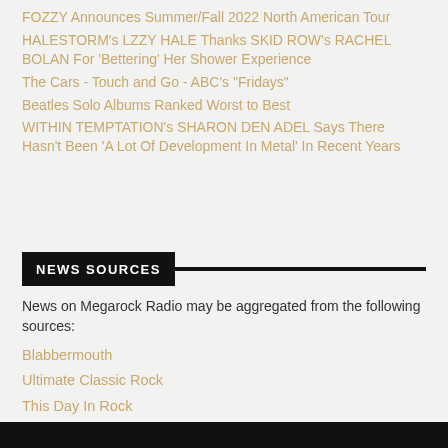FOZZY Announces Summer/Fall 2022 North American Tour
HALESTORM's LZZY HALE Thanks SKID ROW's RACHEL BOLAN For 'Bettering' Her Shower Experience
The Cars - Touch and Go - ABC's "Fridays"
Beatles Solo Albums Ranked Worst to Best
WITHIN TEMPTATION's SHARON DEN ADEL Says There Hasn't Been 'A Lot Of Development In Metal' In Recent Years
NEWS SOURCES
News on Megarock Radio may be aggregated from the following sources:
Blabbermouth
Ultimate Classic Rock
This Day In Rock